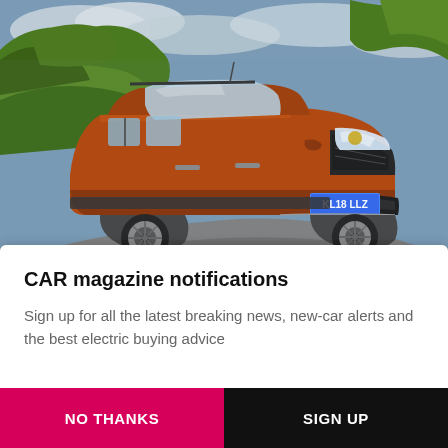[Figure (photo): An orange/copper Peugeot van (registration KL18 LLZ) driving on a road with green grassy hillside in the background, motion blur indicating speed]
CAR magazine notifications
Sign up for all the latest breaking news, new-car alerts and the best electric buying advice
NO THANKS
SIGN UP